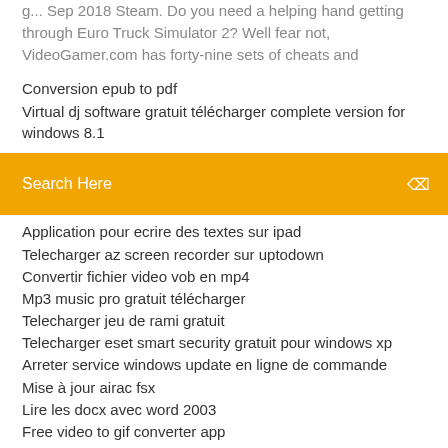g... Sep 2018 Steam. Do you need a helping hand getting through Euro Truck Simulator 2? Well fear not, VideoGamer.com has forty-nine sets of cheats and
Conversion epub to pdf
Virtual dj software gratuit télécharger complete version for windows 8.1
Search Here
Application pour ecrire des textes sur ipad
Telecharger az screen recorder sur uptodown
Convertir fichier video vob en mp4
Mp3 music pro gratuit télécharger
Telecharger jeu de rami gratuit
Telecharger eset smart security gratuit pour windows xp
Arreter service windows update en ligne de commande
Mise à jour airac fsx
Lire les docx avec word 2003
Free video to gif converter app